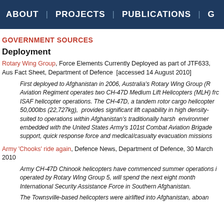ABOUT | PROJECTS | PUBLICATIONS | G
GOVERNMENT SOURCES
Deployment
Rotary Wing Group, Force Elements Currently Deployed as part of JTF633, Aus Fact Sheet, Department of Defence  [accessed 14 August 2010]
First deployed to Afghanistan in 2006, Australia's Rotary Wing Group (R Aviation Regiment operates two CH-47D Medium Lift Helicopters (MLH) frc ISAF helicopter operations. The CH-47D, a tandem rotor cargo helicopter 50,000lbs (22,727kg),  provides significant lift capability in high density- suited to operations within Afghanistan's traditionally harsh  environmer embedded with the United States Army's 101st Combat Aviation Brigade support, quick response force and medical/casualty evacuation missions
Army 'Chooks' ride again, Defence News, Department of Defence, 30 March 2010
Army CH-47D Chinook helicopters have commenced summer operations i operated by Rotary Wing Group 5, will spend the next eight month International Security Assistance Force in Southern Afghanistan.
The Townsville-based helicopters were airlifted into Afghanistan, aboan